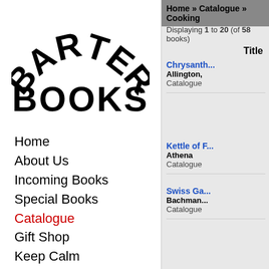[Figure (logo): Barter Books logo with large bold arched text]
Home
About Us
Incoming Books
Special Books
Catalogue
Gift Shop
Keep Calm
Other Stuff
Writers' Mural
Paradise
Station Buffet
Links
Home » Catalogue » Cooking
Displaying 1 to 20 (of 58 books)
Title
Chrysanth...
Allington,
Catalogue
Kettle of F...
Athena
Catalogue
Swiss Ga...
Bachman...
Catalogue